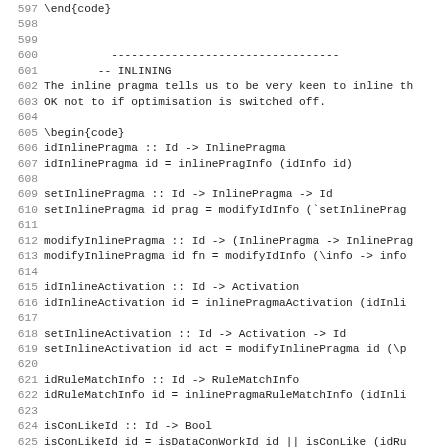597 \end{code}
598
599
600           ----------------------------------
601         -- INLINING
602 The inline pragma tells us to be very keen to inline th
603 OK not to if optimisation is switched off.
604
605 \begin{code}
606 idInlinePragma :: Id -> InlinePragma
607 idInlinePragma id = inlinePragInfo (idInfo id)
608
609 setInlinePragma :: Id -> InlinePragma -> Id
610 setInlinePragma id prag = modifyIdInfo (`setInlinePrag
611
612 modifyInlinePragma :: Id -> (InlinePragma -> InlinePrag
613 modifyInlinePragma id fn = modifyIdInfo (\info -> info
614
615 idInlineActivation :: Id -> Activation
616 idInlineActivation id = inlinePragmaActivation (idInli
617
618 setInlineActivation :: Id -> Activation -> Id
619 setInlineActivation id act = modifyInlinePragma id (\p
620
621 idRuleMatchInfo :: Id -> RuleMatchInfo
622 idRuleMatchInfo id = inlinePragmaRuleMatchInfo (idInli
623
624 isConLikeId :: Id -> Bool
625 isConLikeId id = isDataConWorkId id || isConLike (idRu
626 \end{code}
627
628